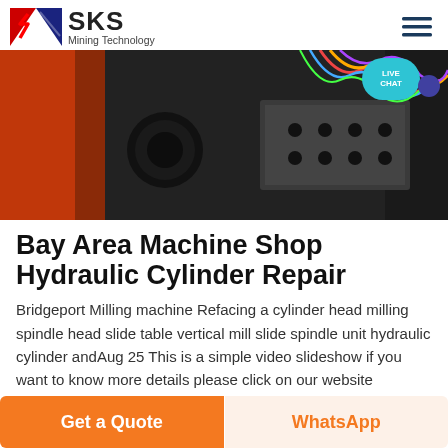SKS Mining Technology
[Figure (photo): Close-up photo of industrial machine components showing black metal connector, panel with multiple ports/holes, and orange painted surface. Live Chat button overlay in top right.]
Bay Area Machine Shop Hydraulic Cylinder Repair
Bridgeport Milling machine Refacing a cylinder head milling spindle head slide table vertical mill slide spindle unit hydraulic cylinder andAug 25 This is a simple video slideshow if you want to know more details please click on our website gospellightbaptistschool we will We
Get a Quote | WhatsApp